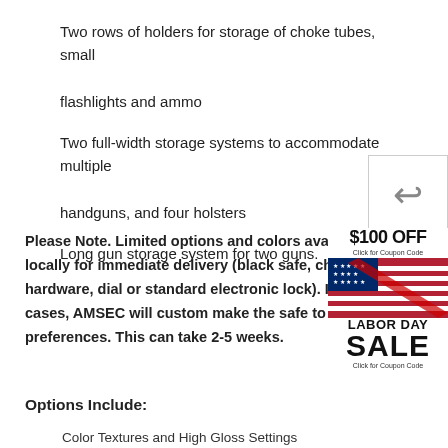Two rows of holders for storage of choke tubes, small flashlights and ammo
Two full-width storage systems to accommodate multiple handguns, and four holsters
Long gun storage system for two guns.
Please Note. Limited options and colors available locally for immediate delivery (black safe, chrome hardware, dial or standard electronic lock). In most cases, AMSEC will custom make the safe to fit your preferences. This can take 2-5 weeks.
[Figure (infographic): Labor Day Sale badge showing $100 OFF with a US flag ribbon graphic and text 'Click for Coupon Code']
Options Include:
Color Textures and High Gloss Settings